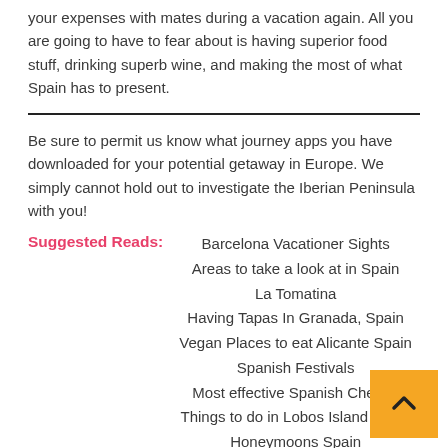your expenses with mates during a vacation again. All you are going to have to fear about is having superior food stuff, drinking superb wine, and making the most of what Spain has to present.
Be sure to permit us know what journey apps you have downloaded for your potential getaway in Europe. We simply cannot hold out to investigate the Iberian Peninsula with you!
Suggested Reads: Barcelona Vacationer Sights
Areas to take a look at in Spain
La Tomatina
Having Tapas In Granada, Spain
Vegan Places to eat Alicante Spain
Spanish Festivals
Most effective Spanish Cheese
Things to do in Lobos Island Spain
Honeymoons Spain